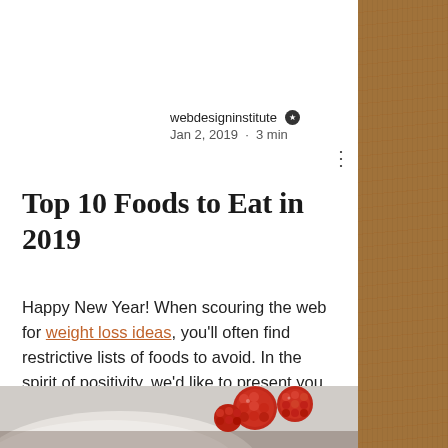webdesigninstitute ★  Jan 2, 2019 · 3 min
Top 10 Foods to Eat in 2019
Happy New Year! When scouring the web for weight loss ideas, you'll often find restrictive lists of foods to avoid. In the spirit of positivity, we'd like to present you with 10 whole foods that should become a regular part of your diet. Eat more of these foods:
[Figure (photo): Bottom portion of a photo showing raspberries or red berries in close-up, with a grey/white bowl edge visible on the left]